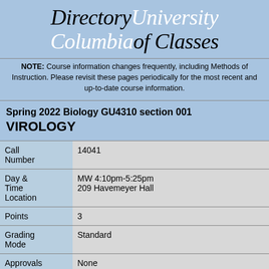Directory University Columbia of Classes
NOTE: Course information changes frequently, including Methods of Instruction. Please revisit these pages periodically for the most recent and up-to-date course information.
Spring 2022 Biology GU4310 section 001
VIROLOGY
|  |  |
| --- | --- |
| Call Number | 14041 |
| Day & Time Location | MW 4:10pm-5:25pm
209 Havemeyer Hall |
| Points | 3 |
| Grading Mode | Standard |
| Approvals | None |